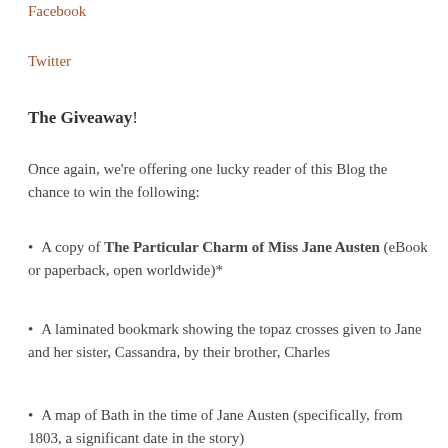Facebook
Twitter
The Giveaway!
Once again, we're offering one lucky reader of this Blog the chance to win the following:
A copy of The Particular Charm of Miss Jane Austen (eBook or paperback, open worldwide)*
A laminated bookmark showing the topaz crosses given to Jane and her sister, Cassandra, by their brother, Charles
A map of Bath in the time of Jane Austen (specifically, from 1803, a significant date in the story)